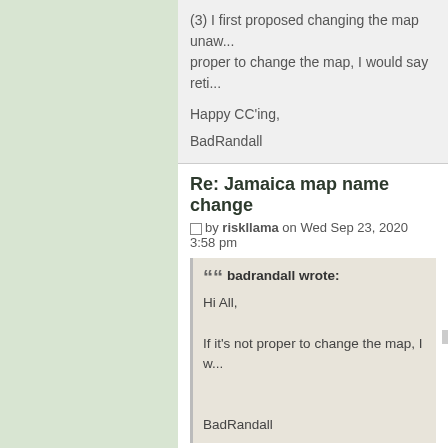(3) I first proposed changing the map unaw... proper to change the map, I would say reti...
Happy CC'ing,
BadRandall
Re: Jamaica map name change
by riskllama on Wed Sep 23, 2020 3:58 pm
badrandall wrote:
Hi All,

If it's not proper to change the map, I w...

BadRandall
strongly disagree.
[Figure (other): Image placeholder icon]